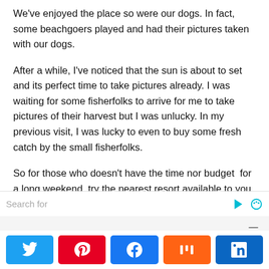We've enjoyed the place so were our dogs. In fact, some beachgoers played and had their pictures taken with our dogs.
After a while, I've noticed that the sun is about to set and its perfect time to take pictures already. I was waiting for some fisherfolks to arrive for me to take pictures of their harvest but I was unlucky. In my previous visit, I was lucky to even to buy some fresh catch by the small fisherfolks.
So for those who doesn't have the time nor budget  for a long weekend, try the nearest resort available to you. It's just a matter of being creative on how to enjoy this
Search for